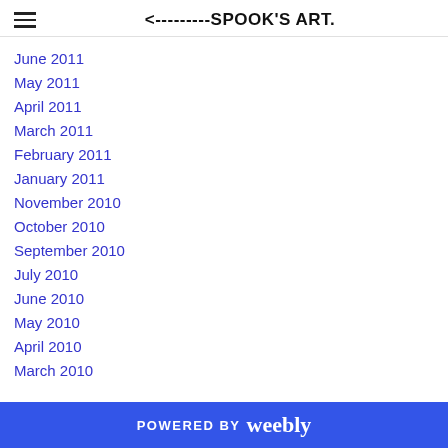<---------SPOOK'S ART.
June 2011
May 2011
April 2011
March 2011
February 2011
January 2011
November 2010
October 2010
September 2010
July 2010
June 2010
May 2010
April 2010
March 2010
POWERED BY weebly